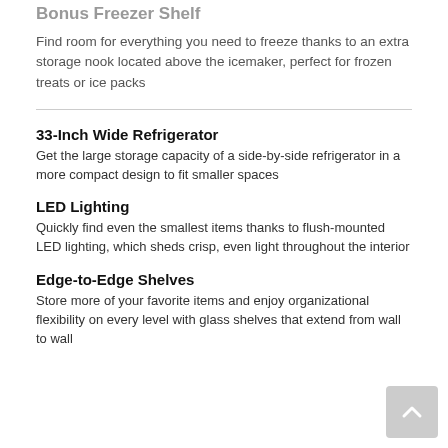Bonus Freezer Shelf
Find room for everything you need to freeze thanks to an extra storage nook located above the icemaker, perfect for frozen treats or ice packs
33-Inch Wide Refrigerator
Get the large storage capacity of a side-by-side refrigerator in a more compact design to fit smaller spaces
LED Lighting
Quickly find even the smallest items thanks to flush-mounted LED lighting, which sheds crisp, even light throughout the interior
Edge-to-Edge Shelves
Store more of your favorite items and enjoy organizational flexibility on every level with glass shelves that extend from wall to wall